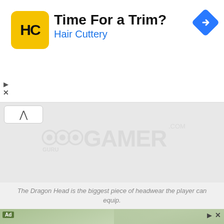[Figure (screenshot): Top advertisement banner for Hair Cuttery with yellow HC logo, text 'Time For a Trim?' and 'Hair Cuttery' in blue, and a blue navigation diamond icon on the right.]
[Figure (screenshot): GuruGamer.com watermark logo in gray over a gray content area with a chevron-up button, and caption text below.]
The Dragon Head is the biggest piece of headwear the player can equip.
[Figure (screenshot): Bottom advertisement banner for Visit Premium Outlets / Leesburg Premium Outlets with a man wearing headset in background and white overlay with black logo circle, blue subtitle, and navigation diamond.]